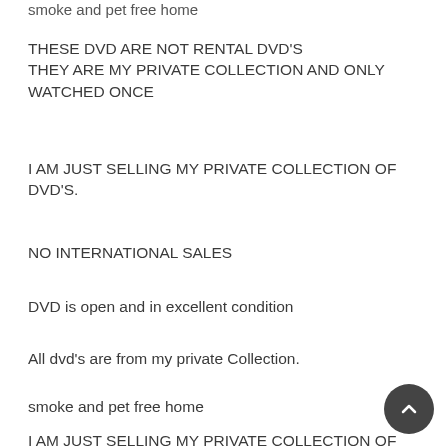smoke and pet free home
THESE DVD ARE NOT RENTAL DVD'S THEY ARE MY PRIVATE COLLECTION AND ONLY WATCHED ONCE
I AM JUST SELLING MY PRIVATE COLLECTION OF DVD'S.
NO INTERNATIONAL SALES
DVD is open and in excellent condition
All dvd's are from my private Collection.
smoke and pet free home
I AM JUST SELLING MY PRIVATE COLLECTION OF VHS'S.